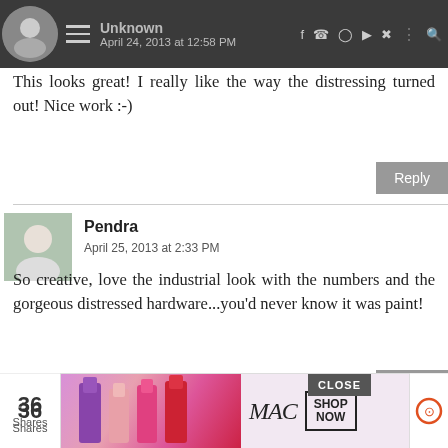Unknown
April 24, 2013 at 12:58 PM
This looks great! I really like the way the distressing turned out! Nice work :-)
Reply
Pendra
April 25, 2013 at 2:33 PM
So creative, love the industrial look with the numbers and the gorgeous distressed hardware...you'd never know it was paint!
Reply
Lori Lehman
CLOSE
36
Shares
[Figure (advertisement): MAC Cosmetics advertisement showing lipsticks in purple, pink, and red shades with MAC logo and SHOP NOW button]